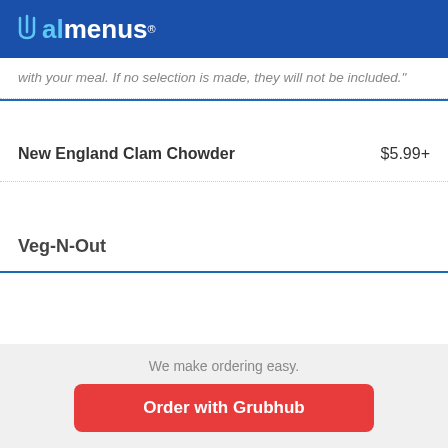allmenus®
with your meal. If no selection is made, they will not be included."
New England Clam Chowder	$5.99+
Veg-N-Out
We make ordering easy.
Order with Grubhub